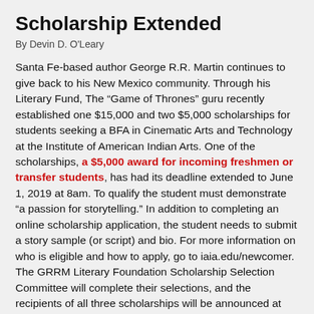Scholarship Extended
By Devin D. O'Leary
Santa Fe-based author George R.R. Martin continues to give back to his New Mexico community. Through his Literary Fund, The “Game of Thrones” guru recently established one $15,000 and two $5,000 scholarships for students seeking a BFA in Cinematic Arts and Technology at the Institute of American Indian Arts. One of the scholarships, a $5,000 award for incoming freshmen or transfer students, has had its deadline extended to June 1, 2019 at 8am. To qualify the student must demonstrate “a passion for storytelling.” In addition to completing an online scholarship application, the student needs to submit a story sample (or script) and bio. For more information on who is eligible and how to apply, go to iaia.edu/newcomer. The GRRM Literary Foundation Scholarship Selection Committee will complete their selections, and the recipients of all three scholarships will be announced at the IAIA